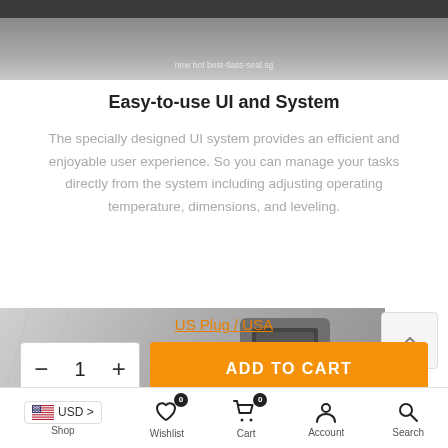[Figure (photo): Close-up photo of a device/product top edge with a watermark label 'new hot best-tlass-seal.sg']
Easy-to-use UI and System
The specially designed UI system provides an efficient and enjoyable user experience. So you can manage your tasks directly from the system including adjusting operating temperature, dimensions, and leveling.
[Figure (photo): Photo of a 3D printer or similar product with a touchscreen display and metal frame]
US Plug / USA
- 1 +  ADD TO CART
Shop  Wishlist 0  Cart 0  Account  Search